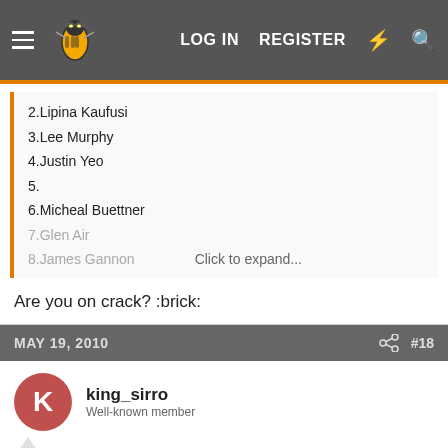LOG IN   REGISTER
2.Lipina Kaufusi
3.Lee Murphy
4.Justin Yeo
5.
6.Micheal Buettner
7.Glen Air
8.James Gannon
Click to expand...
Are you on crack? :brick:
MAY 19, 2010   #18
king_sirro
Well-known member
hahahaha knew it wouldnt take long for someone to